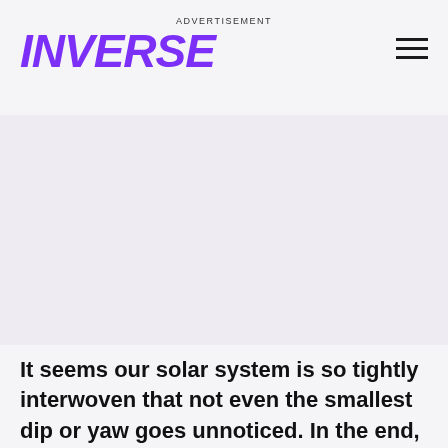ADVERTISEMENT
[Figure (logo): INVERSE logo in bold purple italic text]
[Figure (other): Advertisement placeholder area (blank gray rectangle)]
It seems our solar system is so tightly interwoven that not even the smallest dip or yaw goes unnoticed. In the end, what we've learned since Halley is that time is not constant or reliable. The earth's day never was and never